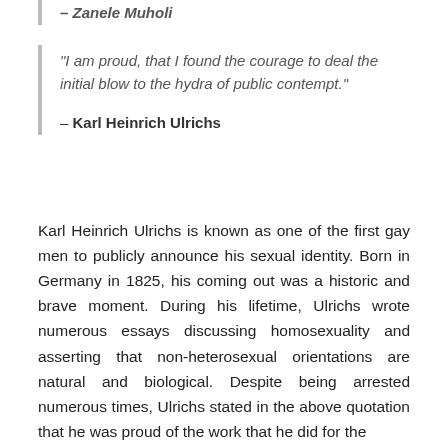– Zanele Muholi
“I am proud, that I found the courage to deal the initial blow to the hydra of public contempt.”
– Karl Heinrich Ulrichs
Karl Heinrich Ulrichs is known as one of the first gay men to publicly announce his sexual identity. Born in Germany in 1825, his coming out was a historic and brave moment. During his lifetime, Ulrichs wrote numerous essays discussing homosexuality and asserting that non-heterosexual orientations are natural and biological. Despite being arrested numerous times, Ulrichs stated in the above quotation that he was proud of the work that he did for the